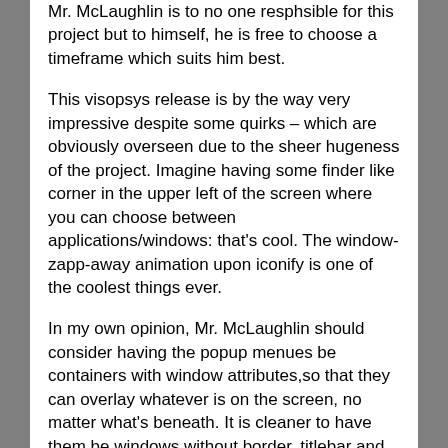Mr. McLaughlin is to no one resphsible for this project but to himself, he is free to choose a timeframe which suits him best.
This visopsys release is by the way very impressive despite some quirks – which are obviously overseen due to the sheer hugeness of the project. Imagine having some finder like corner in the upper left of the screen where you can choose between applications/windows: that's cool. The window-zapp-away animation upon iconify is one of the coolest things ever.
In my own opinion, Mr. McLaughlin should consider having the popup menues be containers with window attributes,so that they can overlay whatever is on the screen, no matter what's beneath. It is cleaner to have them be windows without border, titlebar and menue(the buttons). I am doing them as windows – with border but no titlebar nor buttons -in BlueIllusionOS, 'shrung' maybe I'm just